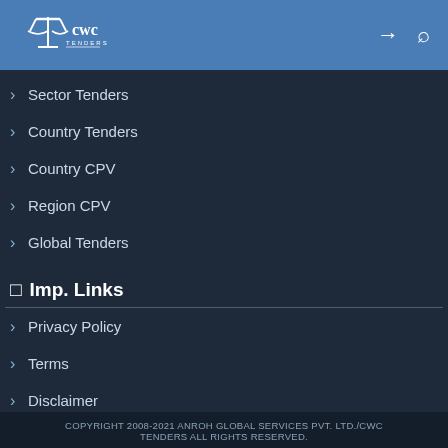CWC Tenders
Sector Tenders
Country Tenders
Country CPV
Region CPV
Global Tenders
Imp. Links
Privacy Policy
Terms
Disclaimer
Contact Us
COPYRIGHT 2008-2021 ANROH GLOBAL SERVICES PVT. LTD./CWC TENDERS ALL RIGHTS RESERVED.